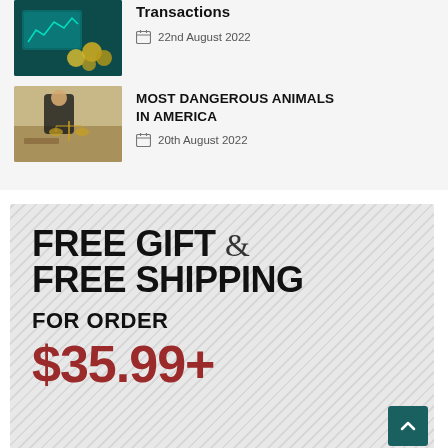[Figure (photo): Crypto/finance themed image with coins and digital screen on teal background]
Transactions
22nd August 2022
[Figure (photo): Person in suit with scales of justice on desk]
MOST DANGEROUS ANIMALS IN AMERICA
20th August 2022
[Figure (infographic): Promotional banner with diagonal stripe background. Text: FREE GIFT & FREE SHIPPING FOR ORDER $35.99+]